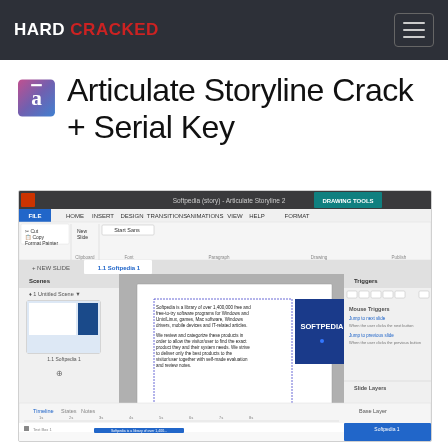HARD CRACKED
Articulate Storyline Crack + Serial Key
[Figure (screenshot): Screenshot of Articulate Storyline 2 software interface showing ribbon toolbar with tabs (File, Home, Insert, Design, Transitions, Animations, View, Help, Format under Drawing Tools). Left panel shows Scenes with '1 Untitled Scene' and a slide thumbnail labeled '1.1 Softpedia 1'. Main editing canvas shows a text box with Softpedia description text and a Softpedia logo image. Right panel shows Triggers and Slide Layers. Bottom panel shows Timeline, States, Notes tabs with base layer item 'Softpedia 1'.]